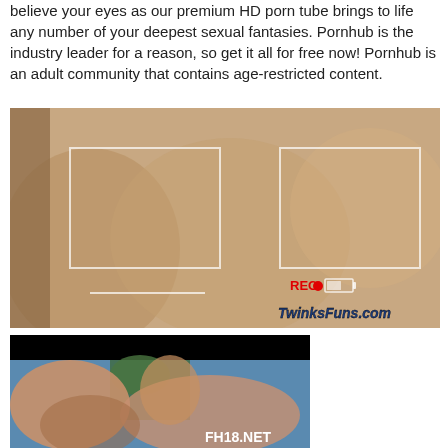believe your eyes as our premium HD porn tube brings to life any number of your deepest sexual fantasies. Pornhub is the industry leader for a reason, so get it all for free now! Pornhub is an adult community that contains age-restricted content.
[Figure (photo): Video thumbnail showing recording camera view with white viewfinder frame overlay, REC indicator with red dot, battery icon, and TwinksFuns.com watermark in bottom right corner]
[Figure (photo): Video thumbnail with black bar at top, showing a scene with FH18.NET watermark in bottom right corner]